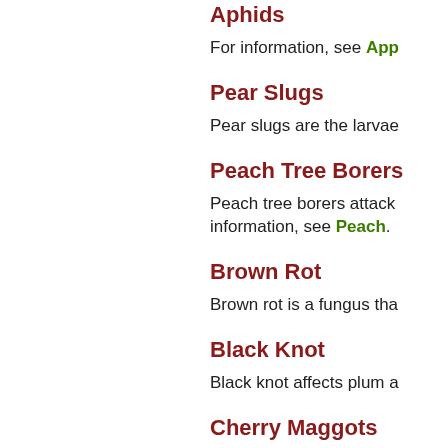Aphids
For information, see App
Pear Slugs
Pear slugs are the larvae
Peach Tree Borers
Peach tree borers attack information, see Peach.
Brown Rot
Brown rot is a fungus tha
Black Knot
Black knot affects plum a
Cherry Maggots